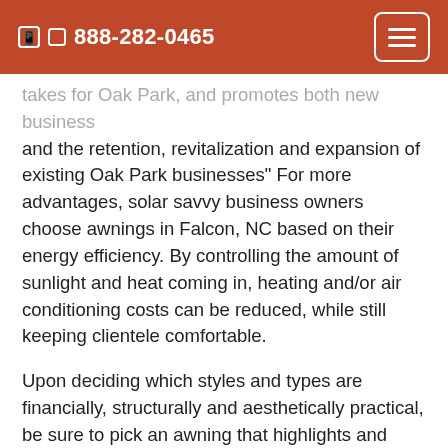888-282-0465
takes for Oak Park, and promotes both new business and the retention, revitalization and expansion of existing Oak Park businesses" For more advantages, solar savvy business owners choose awnings in Falcon, NC based on their energy efficiency. By controlling the amount of sunlight and heat coming in, heating and/or air conditioning costs can be reduced, while still keeping clientele comfortable.
Upon deciding which styles and types are financially, structurally and aesthetically practical, be sure to pick an awning that highlights and emphasizes your business. The latest metal awnings in Falcon, NC and aluminum awnings can complement your modern-day clothing company that sells timeless-in-taste garb, whereas a colorful canvas awning makes a bar with a bustling night life draw in the crowds. The good news